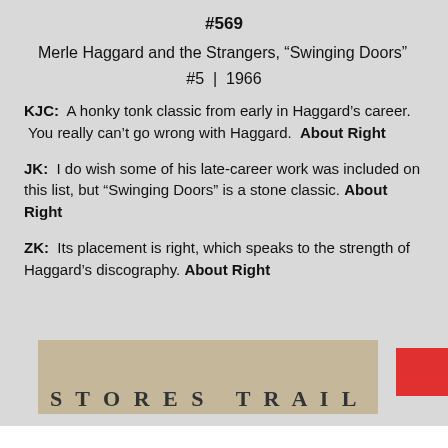#569
Merle Haggard and the Strangers, “Swinging Doors”
#5 | 1966
KJC: A honky tonk classic from early in Haggard’s career. You really can’t go wrong with Haggard. About Right
JK: I do wish some of his late-career work was included on this list, but “Swinging Doors” is a stone classic. About Right
ZK: Its placement is right, which speaks to the strength of Haggard’s discography. About Right
[Figure (photo): Partial album cover showing beige/tan background with large bold letters and a red rectangle element in the corner]
x